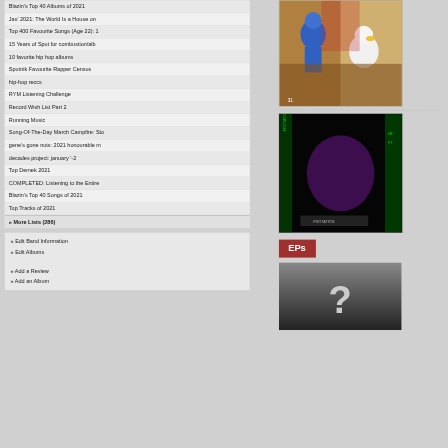Blazin's Top 40 Albums of 2021
Jas' 2021: The World Is a House on
Top 400 Favourite Songs (Age 22): 1
15 Years of Sput for combustion/alb
10 favorite hip hop albums
Sputnik Favourite Rapper Census
hip-hop reccs
RYM Listening Challenge
Record Wish List Part 2
Running Music
Song-Of-The-Day March Campfire: Sto
gene's gone nuts: 2021 honourable m
decades project: january '-2
Top Demek 2021
COMPLETED: Listening to the Entire
Blazin's Top 40 Songs of 2021
Top Tracks of 2021
» More Lists (286)
» Edit Band Information
» Edit Albums

» Add a Review
» Add an Album
[Figure (photo): Album cover art with cartoon characters including a blue figure and a white duck-like character on a colorful background]
[Figure (photo): Dark album cover with colorful psychedelic/grunge imagery, green and purple tones with text elements]
EPs
[Figure (photo): Dark gradient image with a large question mark, indicating unknown/missing album art]